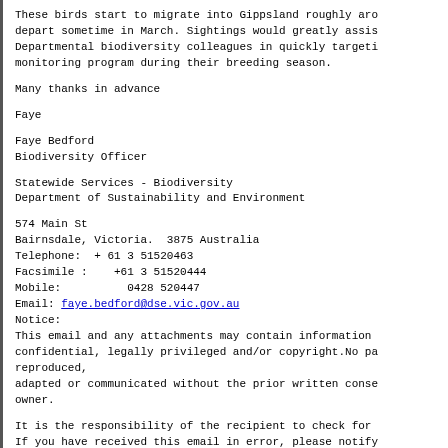These birds start to migrate into Gippsland roughly aro
depart sometime in March. Sightings would greatly assis
Departmental biodiversity colleagues in quickly targeti
monitoring program during their breeding season.
Many thanks in advance
Faye
Faye Bedford
Biodiversity Officer
Statewide Services - Biodiversity
Department of Sustainability and Environment
574 Main St
Bairnsdale, Victoria.  3875 Australia
Telephone:  + 61 3 51520463
Facsimile :    +61 3 51520444
Mobile:          0428 520447
Email: faye.bedford@dse.vic.gov.au
Notice:
This email and any attachments may contain information
confidential, legally privileged and/or copyright.No pa
reproduced,
adapted or communicated without the prior written conse
owner.
It is the responsibility of the recipient to check for
If you have received this email in error, please notify